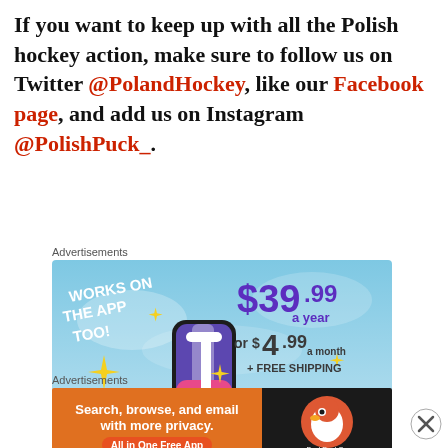If you want to keep up with all the Polish hockey action, make sure to follow us on Twitter @PolandHockey, like our Facebook page, and add us on Instagram @PolishPuck_.
Advertisements
[Figure (illustration): Advertisement banner: Works on the App Too! $39.99 a year or $4.99 a month + FREE SHIPPING. Tumblr logo shown on sky background with sparkles.]
Advertisements
[Figure (illustration): DuckDuckGo advertisement: Search, browse, and email with more privacy. All in One Free App. Orange background with DuckDuckGo duck logo.]